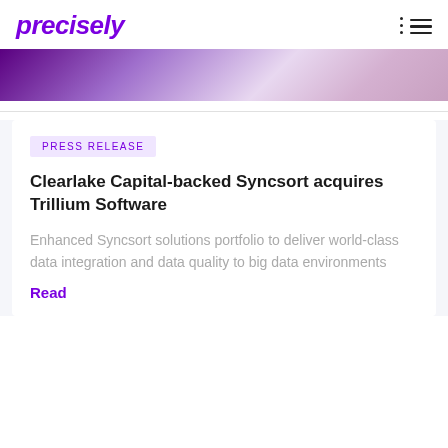precisely
[Figure (photo): Abstract purple and lavender blurred background image used as hero banner]
Press Release
Clearlake Capital-backed Syncsort acquires Trillium Software
Enhanced Syncsort solutions portfolio to deliver world-class data integration and data quality to big data environments
Read